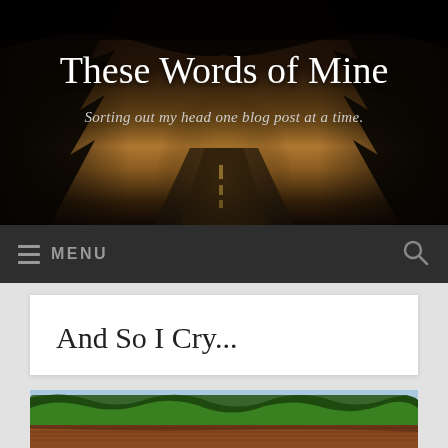[Figure (photo): Blog header image: dark forest road with light breaking through trees in the distance]
These Words of Mine
Sorting out my head one blog post at a time.
MENU
And So I Cry...
[Figure (photo): Outdoor scene with green trees, rusty corrugated metal roof structures, and blue sky]